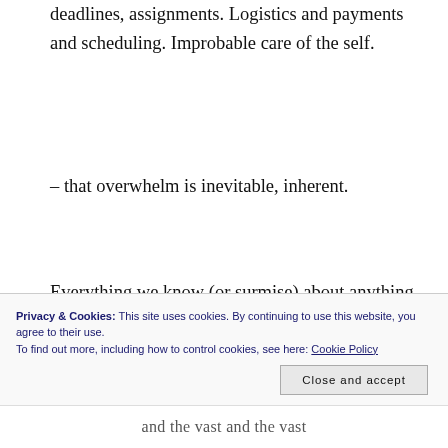deadlines, assignments. Logistics and payments and scheduling. Improbable care of the self.
– that overwhelm is inevitable, inherent.
Everything we know (or surmise) about anything indicates vast beyonds unknown and ignored. In order to see, to breathe, to speak, to hear, to feel, to think, to live. We filter and avoid. Press the vast majority of the world's
Privacy & Cookies: This site uses cookies. By continuing to use this website, you agree to their use.
To find out more, including how to control cookies, see here: Cookie Policy
Close and accept
and the vast and the vast